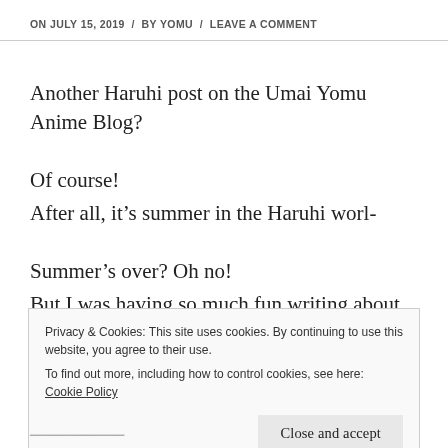ON JULY 15, 2019 / BY YOMU / LEAVE A COMMENT
Another Haruhi post on the Umai Yomu Anime Blog?
Of course!
After all, it’s summer in the Haruhi worl-
Summer’s over? Oh no!
But I was having so much fun writing about all of the fun, unique summertime memories being made by the
Privacy & Cookies: This site uses cookies. By continuing to use this website, you agree to their use.
To find out more, including how to control cookies, see here: Cookie Policy
Close and accept